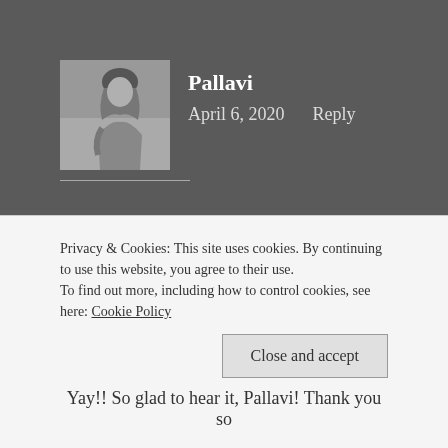[Figure (photo): Black and white avatar photo of a woman]
Pallavi
April 6, 2020   Reply
Aaah eggs are just the best! Put a smile on my face.
★ Liked by 1person
Privacy & Cookies: This site uses cookies. By continuing to use this website, you agree to their use.
To find out more, including how to control cookies, see here: Cookie Policy
Close and accept
Yay!! So glad to hear it, Pallavi! Thank you so